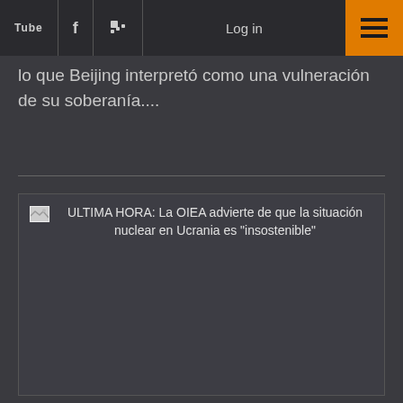Tube | f | RSS | Log in | ☰
lo que Beijing interpretó como una vulneración de su soberanía....
ULTIMA HORA: La OIEA advierte de que la situación nuclear en Ucrania es "insostenible"